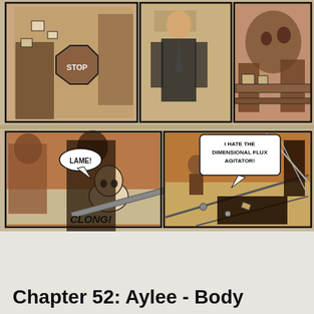[Figure (illustration): Comic book page panels showing action scenes. Top row: three panels with characters including a creature holding a STOP sign, a man in a suit, and a monster-like creature. Bottom row: two panels - left panel shows a character saying 'LAME!' with a 'CLONG!' sound effect; right panel shows an overhead view of a chaotic scene with a speech bubble saying 'I HATE THE DIMENSIONAL FLUX AGITATOR!'. Art style is sepia/brown toned ink illustration.]
Chapter 52: Aylee - Body